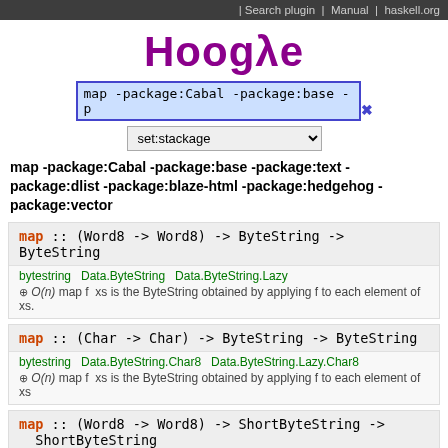Search plugin | Manual | haskell.org
[Figure (logo): Hoogle logo with lambda symbol in purple bold text]
map -package:Cabal -package:base -p [search box with x button]
set:stackage [dropdown]
map -package:Cabal -package:base -package:text -package:dlist -package:blaze-html -package:hedgehog -package:vector
map :: (Word8 -> Word8) -> ByteString -> ByteString
bytestring Data.ByteString Data.ByteString.Lazy
O(n) map f xs is the ByteString obtained by applying f to each element of xs.
map :: (Char -> Char) -> ByteString -> ByteString
bytestring Data.ByteString.Char8 Data.ByteString.Lazy.Char8
O(n) map f xs is the ByteString obtained by applying f to each element of xs
map :: (Word8 -> Word8) -> ShortByteString -> ShortByteString